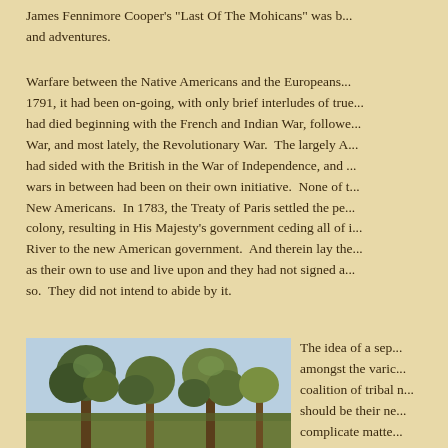James Fennimore Cooper's "Last Of The Mohicans" was b... and adventures.
Warfare between the Native Americans and the Europeans... 1791, it had been on-going, with only brief interludes of true... had died beginning with the French and Indian War, followe... War, and most lately, the Revolutionary War. The largely A... had sided with the British in the War of Independence, and ... wars in between had been on their own initiative. None of t... New Americans. In 1783, the Treaty of Paris settled the pe... colony, resulting in His Majesty's government ceding all of i... River to the new American government. And therein lay the... as their own to use and live upon and they had not signed a... so. They did not intend to abide by it.
[Figure (illustration): Painting of trees in a landscape with a light blue sky background]
The idea of a sep... amongst the varic... coalition of tribal n... should be their ne... complicate matte...